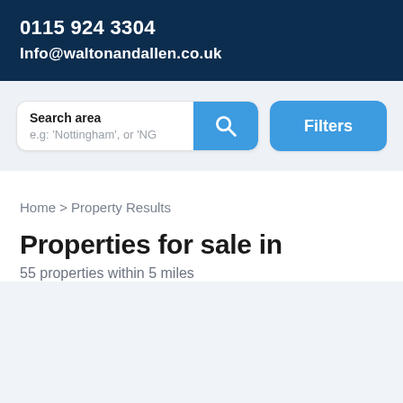0115 924 3304
Info@waltonandallen.co.uk
[Figure (screenshot): Search bar with text 'Search area' and placeholder 'e.g: Nottingham, or NG', a blue search icon button, and a blue Filters button]
Home > Property Results
Properties for sale in
55 properties within 5 miles